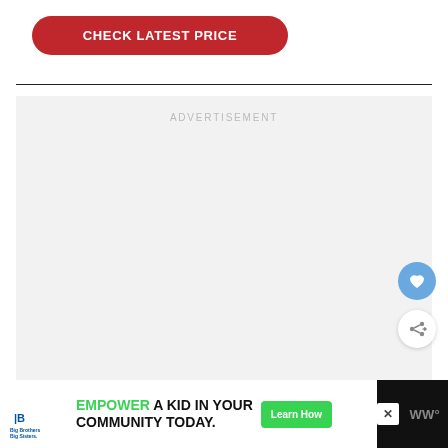CHECK LATEST PRICE
[Figure (other): Gray advertisement placeholder box with ADVERTISEMENT label text]
[Figure (other): Blue circular heart/favorite button]
[Figure (other): White circular share button with share icon]
[Figure (other): Bottom advertisement banner: Big Brothers Big Sisters logo, EMPOWER A KID IN YOUR COMMUNITY TODAY. ad with Learn How button, close X button, WW logo]